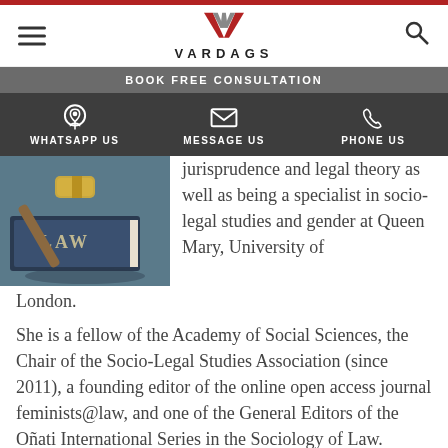[Figure (logo): Vardags law firm logo with stylized W/M monogram and VARDAGS wordmark]
BOOK FREE CONSULTATION
WHATSAPP US   MESSAGE US   PHONE US
[Figure (photo): Photo of a gavel resting on law books with the word LAW visible]
jurisprudence and legal theory as well as being a specialist in socio-legal studies and gender at Queen Mary, University of London.
She is a fellow of the Academy of Social Sciences, the Chair of the Socio-Legal Studies Association (since 2011), a founding editor of the online open access journal feminists@law, and one of the General Editors of the Oñati International Series in the Sociology of Law.